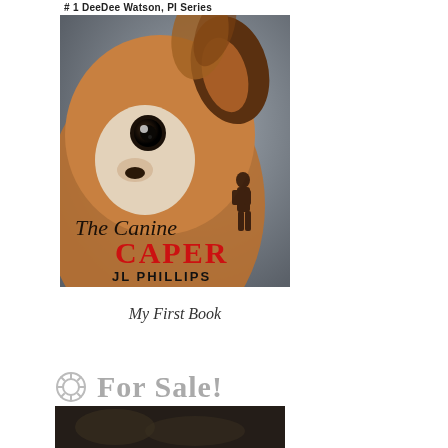[Figure (photo): Book cover for 'The Canine Caper' by JL Phillips, #1 DeeDee Watson PI Series. Shows a close-up of a small fluffy dog (Papillon) with a dark silhouette of a person in the background. Title text 'The Canine CAPER' with 'CAPER' in red, and author name 'JL PHILLIPS' at the bottom.]
My First Book
For Sale!
[Figure (photo): Bottom strip of a dark image, partially visible, appears to be another book cover or related image.]